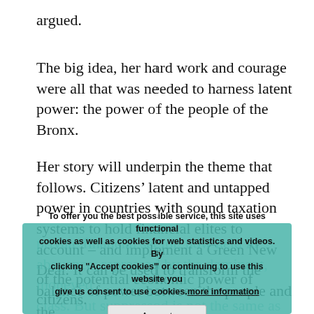argued.
The big idea, her hard work and courage were all that was needed to harness latent power: the power of the people of the Bronx.
Her story will underpin the theme that follows. Citizens’ latent and untapped power in countries with sound taxation systems to hold financial elites to account – and implement a Green New Deal. It can be used to transform the balance of power between the people and the private financial sector, now held in abeyance, repressed by the dominant, moneyed class. But suppressed is not the same as myopic view that we, and our politicians, have of the potential economic power of citizens.
To offer you the best possible service, this site uses functional cookies as well as cookies for web statistics and videos. By clicking "Accept cookies" or continuing to use this website you give us consent to use cookies. more information
Accept